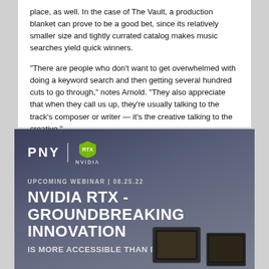place, as well. In the case of The Vault, a production blanket can prove to be a good bet, since its relatively smaller size and tightly currated catalog makes music searches yield quick winners.
“There are people who don’t want to get overwhelmed with doing a keyword search and then getting several hundred cuts to go through,” notes Arnold. “They also appreciate that when they call us up, they’re usually talking to the track’s composer or writer — it’s the creative talking to the creative.”
[Figure (infographic): PNY | NVIDIA advertisement. Dark blue-grey gradient background. PNY logo and NVIDIA logo with shield icon at top. Text: UPCOMING WEBINAR | 08.25.22. Large bold headline: NVIDIA RTX - GROUNDBREAKING INNOVATION. Subheadline: IS MORE ACCESSIBLE THAN EVER. Computer hardware images at bottom right.]